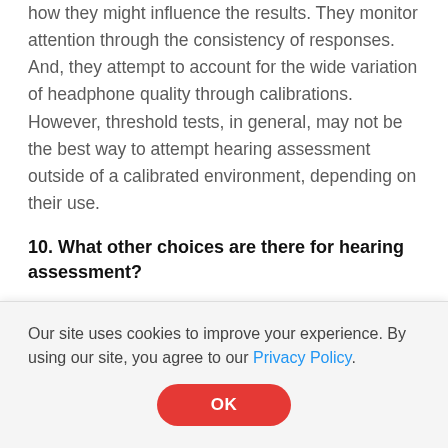how they might influence the results. They monitor attention through the consistency of responses. And, they attempt to account for the wide variation of headphone quality through calibrations. However, threshold tests, in general, may not be the best way to attempt hearing assessment outside of a calibrated environment, depending on their use.
10. What other choices are there for hearing assessment?
Methods that use suprathreshold tests (such as noise masked psychophysical tuning curves or
Our site uses cookies to improve your experience. By using our site, you agree to our Privacy Policy.